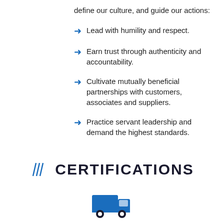define our culture, and guide our actions:
Lead with humility and respect.
Earn trust through authenticity and accountability.
Cultivate mutually beneficial partnerships with customers, associates and suppliers.
Practice servant leadership and demand the highest standards.
CERTIFICATIONS
[Figure (illustration): Blue delivery truck icon]